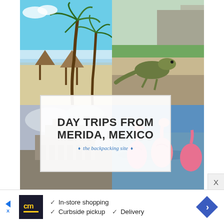[Figure (photo): Collage of four travel photos: top-left beach with palm trees and thatched huts, top-right iguana on stone ruins with Mayan pyramid in background, bottom-left cloudy Mayan temple ruins, bottom-right pink flamingos in water]
DAY TRIPS FROM MERIDA, MEXICO
♦ the backpacking site ♦
✓ In-store shopping
✓ Curbside pickup  ✓ Delivery